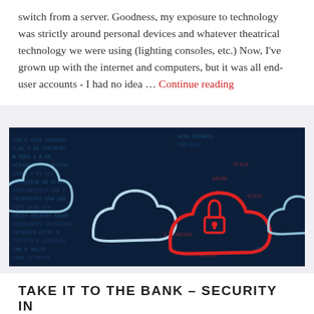switch from a server. Goodness, my exposure to technology was strictly around personal devices and whatever theatrical technology we were using (lighting consoles, etc.) Now, I've grown up with the internet and computers, but it was all end-user accounts - I had no idea … Continue reading
[Figure (photo): Dark digital background with cloud computing security concept: multiple cloud icons overlaid on a dark surface covered in hexadecimal code. A central red cloud outline contains a red padlock icon, surrounded by white/cyan cloud silhouettes. The scene represents cloud security threats.]
TAKE IT TO THE BANK – SECURITY IN